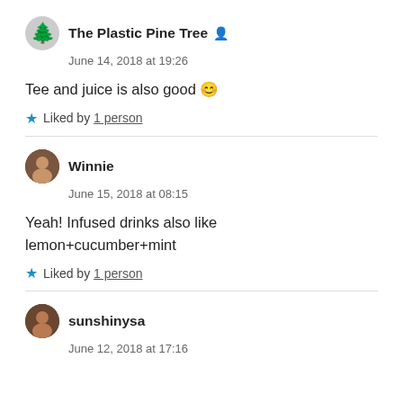The Plastic Pine Tree
June 14, 2018 at 19:26
Tee and juice is also good 😊
Liked by 1 person
Winnie
June 15, 2018 at 08:15
Yeah! Infused drinks also like lemon+cucumber+mint
Liked by 1 person
sunshinysa
June 12, 2018 at 17:16